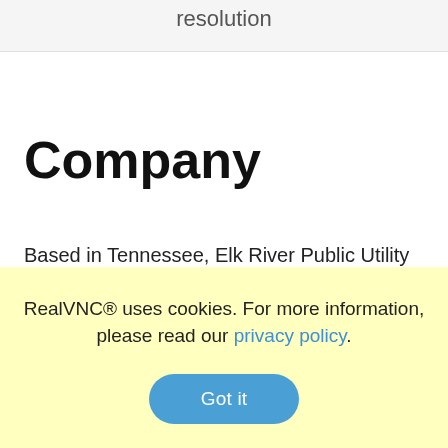resolution
Company
Based in Tennessee, Elk River Public Utility District
RealVNC® uses cookies. For more information, please read our privacy policy.
Got it